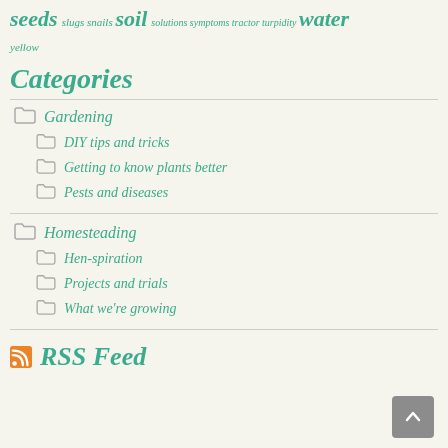seeds slugs snails soil solutions symptoms tractor turpidity water yellow
Categories
Gardening
DIY tips and tricks
Getting to know plants better
Pests and diseases
Homesteading
Hen-spiration
Projects and trials
What we're growing
RSS Feed